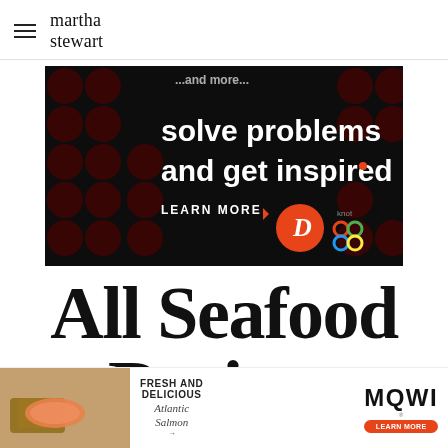martha stewart
[Figure (screenshot): Dark advertisement banner with dots background. Text reads: 'solve problems and get inspired.' with 'LEARN MORE' button and two logos (D logo in orange circle, colorful knot logo).]
All Seafood Recipes
[Figure (screenshot): Mowi salmon advertisement with food image on left. Text: 'FRESH AND DELICIOUS' with 'Atlantic Salmon' script. MOWI logo with 'LEARN MORE' button.]